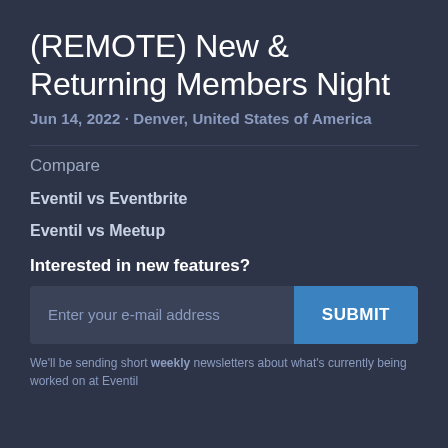(REMOTE) New & Returning Members Night
Jun 14, 2022 · Denver, United States of America
Compare
Eventil vs Eventbrite
Eventil vs Meetup
Interested in new features?
Enter your e-mail address
SUBMIT
We'll be sending short weekly newsletters about what's currently being worked on at Eventil